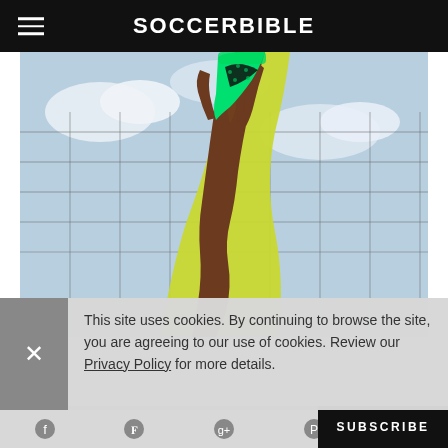SOCCERBIBLE
[Figure (photo): A hand holding up a bright green/lime Nike football boot (cleat) with black swoosh, against a sky and goal net background. The person is wearing a yellow-green sleeve.]
This site uses cookies. By continuing to browse the site, you are agreeing to our use of cookies. Review our Privacy Policy for more details.
SUBSCRIBE